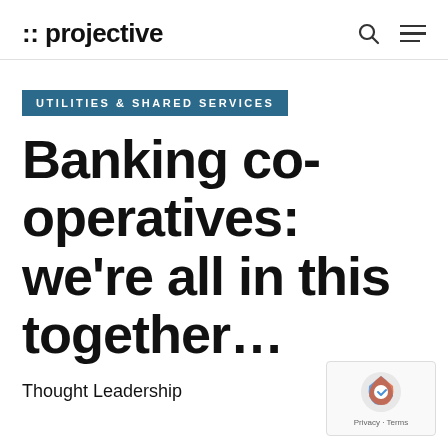:: projective
UTILITIES & SHARED SERVICES
Banking co-operatives: we're all in this together...
Thought Leadership